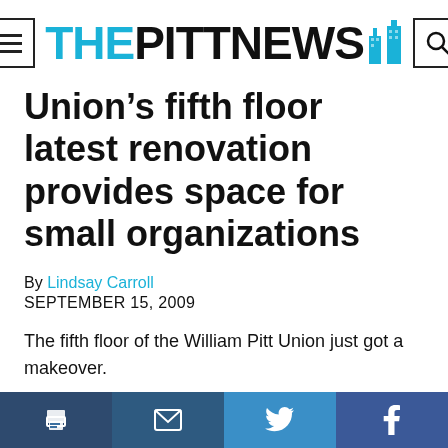THE PITT NEWS
Union’s fifth floor latest renovation provides space for small organizations
By Lindsay Carroll
SEPTEMBER 15, 2009
The fifth floor of the William Pitt Union just got a makeover.
Social share bar: print, email, twitter, facebook